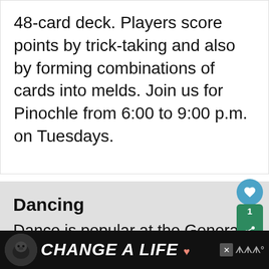48-card deck. Players score points by trick-taking and also by forming combinations of cards into melds. Join us for Pinochle from 6:00 to 9:00 p.m. on Tuesdays.
Dancing
Dance is popular at the General Robert H. Reed Recreation C[enter] and offer a variety of dance [classes...]
[Figure (screenshot): UI overlay elements: heart button, share button with count badge of 1, and a 'What's Next' promotional banner for 'FREE Movie Friday at the...']
[Figure (screenshot): Advertisement banner at bottom of page: image of a black Labrador dog, text 'CHANGE A LIFE' in bold white italic on black background, with close button and branding logo]